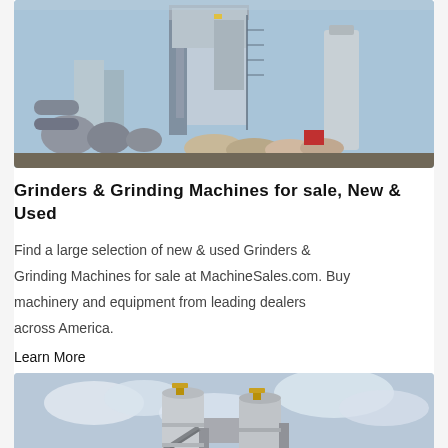[Figure (photo): Industrial grinding/asphalt plant facility with tall towers, silos, conveyors, and aggregate piles under a blue sky]
Grinders & Grinding Machines for sale, New & Used
Find a large selection of new & used Grinders & Grinding Machines for sale at MachineSales.com. Buy machinery and equipment from leading dealers across America.
Learn More
[Figure (photo): Industrial concrete mixing plant with large cylindrical silos under a cloudy sky]